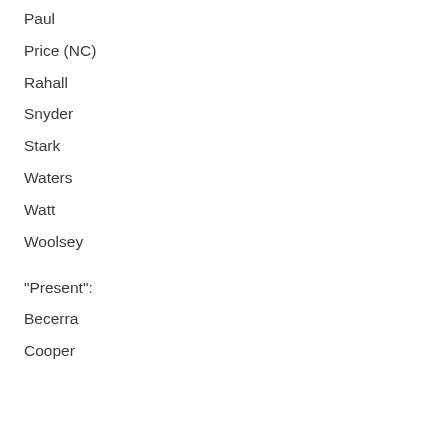Paul
Price (NC)
Rahall
Snyder
Stark
Waters
Watt
Woolsey
"Present":
Becerra
Cooper